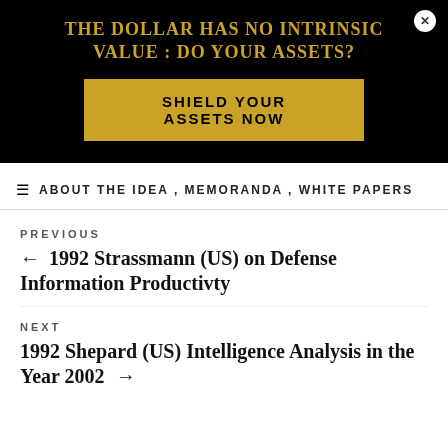[Figure (infographic): Black advertisement banner with gold text headline 'THE DOLLAR HAS NO INTRINSIC VALUE : DO YOUR ASSETS?' and a gold call-to-action button 'SHIELD YOUR ASSETS NOW'. A white close button (x) is in the top right corner.]
ABOUT THE IDEA , MEMORANDA , WHITE PAPERS
PREVIOUS
← 1992 Strassmann (US) on Defense Information Productivty
NEXT
1992 Shepard (US) Intelligence Analysis in the Year 2002 →